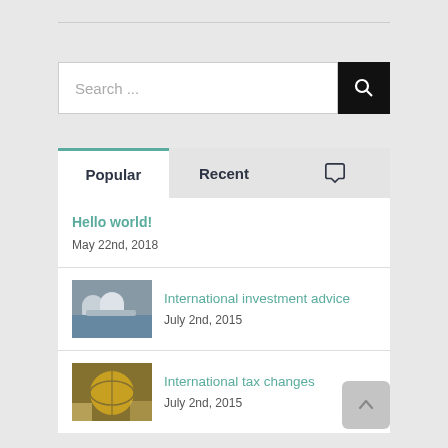[Figure (other): Search bar with text input showing 'Search ...' placeholder and a black search button with magnifying glass icon]
Popular | Recent | (comment icon)
Hello world!
May 22nd, 2018
[Figure (photo): Thumbnail photo of people in a business meeting]
International investment advice
July 2nd, 2015
[Figure (photo): Thumbnail photo of a globe and hands]
International tax changes
July 2nd, 2015